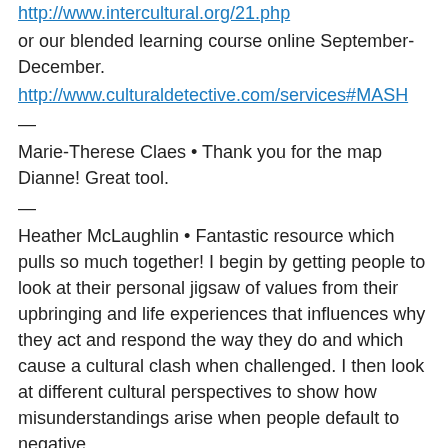http://www.intercultural.org/21.php
or our blended learning course online September-December.
http://www.culturaldetective.com/services#MASH
—
Marie-Therese Claes • Thank you for the map Dianne! Great tool.
—
Heather McLaughlin • Fantastic resource which pulls so much together! I begin by getting people to look at their personal jigsaw of values from their upbringing and life experiences that influences why they act and respond the way they do and which cause a cultural clash when challenged. I then look at different cultural perspectives to show how misunderstandings arise when people default to negative